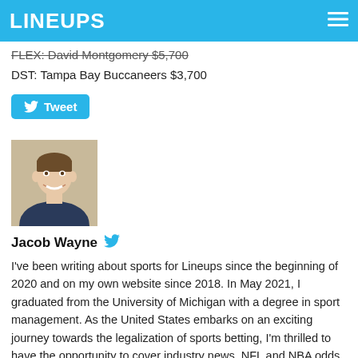LINEUPS
FLEX: David Montgomery $5,700
DST: Tampa Bay Buccaneers $3,700
[Figure (other): Tweet button with Twitter bird icon]
[Figure (photo): Headshot photo of Jacob Wayne, a young man smiling, wearing a dark shirt, against a beige/tan background]
Jacob Wayne
I've been writing about sports for Lineups since the beginning of 2020 and on my own website since 2018. In May 2021, I graduated from the University of Michigan with a degree in sport management. As the United States embarks on an exciting journey towards the legalization of sports betting, I'm thrilled to have the opportunity to cover industry news, NFL and NBA odds, and more.